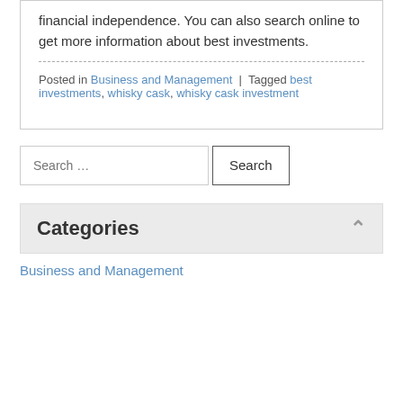financial independence. You can also search online to get more information about best investments.
Posted in Business and Management | Tagged best investments, whisky cask, whisky cask investment
Search ...
Categories
Business and Management